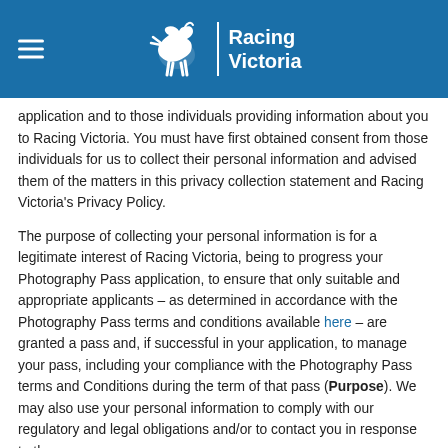Racing Victoria
application and to those individuals providing information about you to Racing Victoria. You must have first obtained consent from those individuals for us to collect their personal information and advised them of the matters in this privacy collection statement and Racing Victoria's Privacy Policy.
The purpose of collecting your personal information is for a legitimate interest of Racing Victoria, being to progress your Photography Pass application, to ensure that only suitable and appropriate applicants – as determined in accordance with the Photography Pass terms and conditions available here – are granted a pass and, if successful in your application, to manage your pass, including your compliance with the Photography Pass terms and Conditions during the term of that pass (Purpose). We may also use your personal information to comply with our regulatory and legal obligations and/or to contact you in response to the